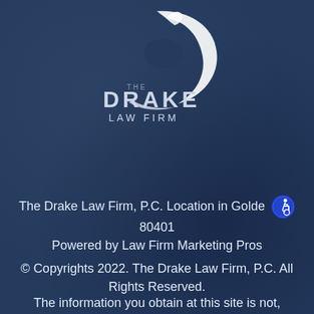[Figure (logo): The Drake Law Firm logo with stylized swoosh/D shape above the text THE DRAKE LAW FIRM]
The Drake Law Firm, P.C. Location in Golden 80401
Powered by Law Firm Marketing Pros
© Copyrights 2022. The Drake Law Firm, P.C. All Rights Reserved.
The information you obtain at this site is not,